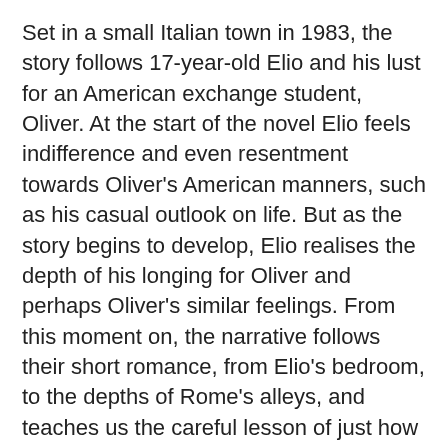Set in a small Italian town in 1983, the story follows 17-year-old Elio and his lust for an American exchange student, Oliver. At the start of the novel Elio feels indifference and even resentment towards Oliver's American manners, such as his casual outlook on life. But as the story begins to develop, Elio realises the depth of his longing for Oliver and perhaps Oliver's similar feelings. From this moment on, the narrative follows their short romance, from Elio's bedroom, to the depths of Rome's alleys, and teaches us the careful lesson of just how fragile we become in the hands of someone else.
On the surface, this book could be written off as a shallow romance, but the themes run much deeper than this. From sexuality, to the impact we have on each other, 'Call Me By Your Name' shows us parts of ourselves we would never care to notice ourselves. Elio's confusing and at times irrational approach to his emotions, around Oliver, sheds light on the darkest